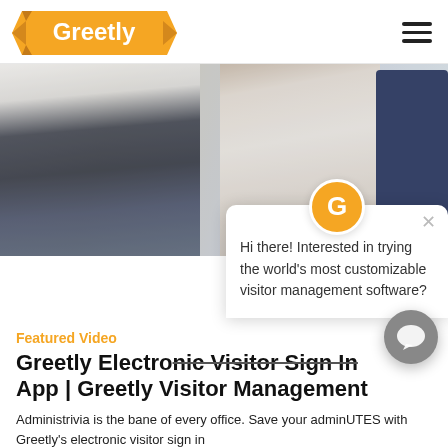[Figure (logo): Greetly logo — orange banner/ribbon shape with white bold text 'Greetly']
[Figure (photo): Office scene with two people in business attire at a desk, one holding a pen pointing at a document, smiling woman in background, monitor visible on right]
[Figure (infographic): Chat popup overlay with orange 'G' circle logo, X close button, and text: 'Hi there! Interested in trying the world's most customizable visitor management software?']
Featured Video
Greetly Electronic Visitor Sign In App | Greetly Visitor Management
Administrivia is the bane of every office. Save your adminUTES with Greetly's electronic visitor sign in